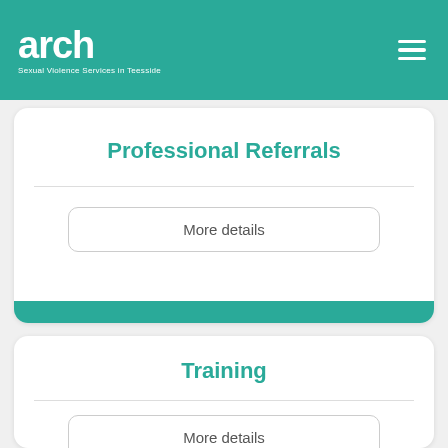[Figure (logo): arch logo with text 'Sexual Violence Services in Teesside' on teal header bar with hamburger menu icon]
Professional Referrals
More details
Training
More details